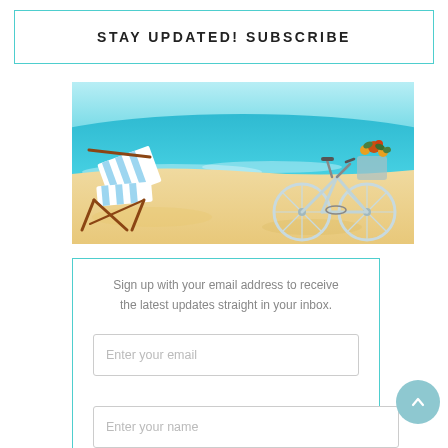STAY UPDATED! SUBSCRIBE
[Figure (illustration): Beach scene illustration with a striped deck chair on the left and a light blue bicycle with a flower basket on the right, sandy beach and turquoise ocean in the background.]
Sign up with your email address to receive the latest updates straight in your inbox.
Enter your email
Enter your name